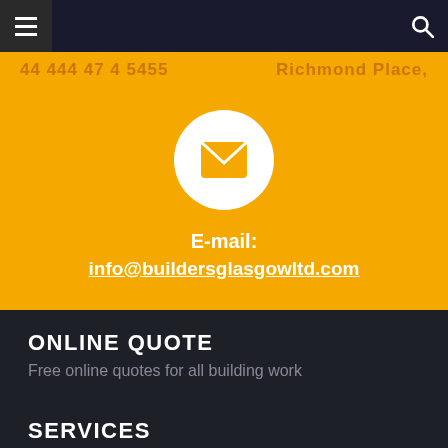Navigation bar with hamburger menu and search icon
44 444 47 4 5455   Richmond Place,
[Figure (illustration): White circle with orange envelope/mail icon in the center on orange background]
E-mail: info@buildersglasgowltd.com
ONLINE QUOTE
Free online quotes for all building work
SERVICES